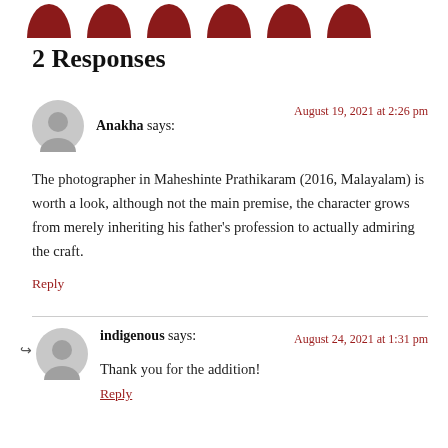[Figure (illustration): Row of dark red half-circle / avatar icon shapes at the top of the page]
2 Responses
Anakha says:
August 19, 2021 at 2:26 pm
The photographer in Maheshinte Prathikaram (2016, Malayalam) is worth a look, although not the main premise, the character grows from merely inheriting his father's profession to actually admiring the craft.
Reply
indigenous says:
August 24, 2021 at 1:31 pm
Thank you for the addition!
Reply